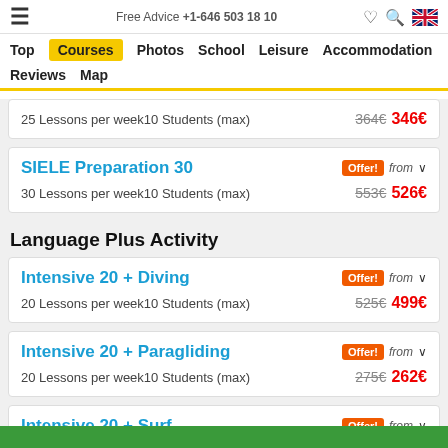Free Advice +1-646 503 18 10
Top  Courses  Photos  School  Leisure  Accommodation  Reviews  Map
25 Lessons per week10 Students (max)  364€ 346€
SIELE Preparation 30
30 Lessons per week10 Students (max)  553€ 526€
Language Plus Activity
Intensive 20 + Diving
20 Lessons per week10 Students (max)  525€ 499€
Intensive 20 + Paragliding
20 Lessons per week10 Students (max)  275€ 262€
Intensive 20 + Surf